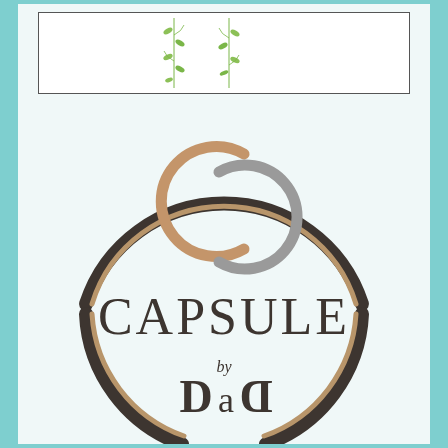[Figure (illustration): Small green botanical leaf/vine decorative elements in a white bordered box at the top]
[Figure (logo): Capsule by DaD logo: large circular arc design with two interlocking C monogram in tan and grey, text CAPSULE in large dark letters, 'by' and 'DaD' below in serif font]